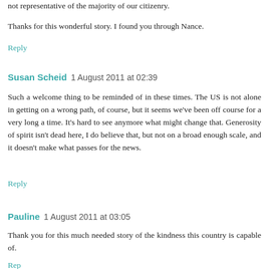not representative of the majority of our citizenry.
Thanks for this wonderful story. I found you through Nance.
Reply
Susan Scheid  1 August 2011 at 02:39
Such a welcome thing to be reminded of in these times. The US is not alone in getting on a wrong path, of course, but it seems we've been off course for a very long a time. It's hard to see anymore what might change that. Generosity of spirit isn't dead here, I do believe that, but not on a broad enough scale, and it doesn't make what passes for the news.
Reply
Pauline  1 August 2011 at 03:05
Thank you for this much needed story of the kindness this country is capable of.
Reply